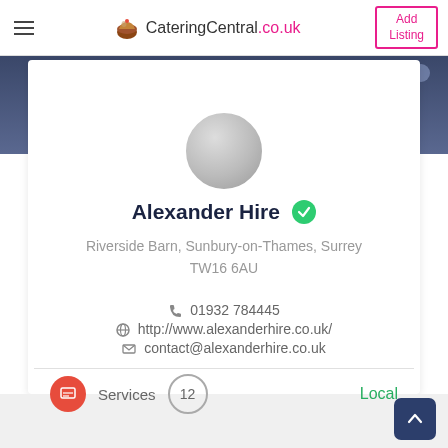CateringCentral.co.uk | Add Listing
[Figure (screenshot): Website listing page for Alexander Hire on CateringCentral.co.uk showing company name, address, contact details and services badge]
Alexander Hire
Riverside Barn, Sunbury-on-Thames, Surrey TW16 6AU
01932 784445
http://www.alexanderhire.co.uk/
contact@alexanderhire.co.uk
Services 12 Local